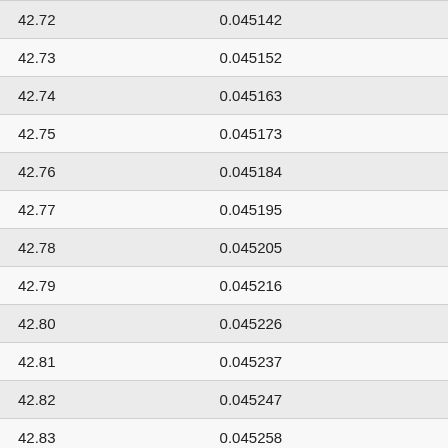| 42.72 | 0.045142 |
| 42.73 | 0.045152 |
| 42.74 | 0.045163 |
| 42.75 | 0.045173 |
| 42.76 | 0.045184 |
| 42.77 | 0.045195 |
| 42.78 | 0.045205 |
| 42.79 | 0.045216 |
| 42.80 | 0.045226 |
| 42.81 | 0.045237 |
| 42.82 | 0.045247 |
| 42.83 | 0.045258 |
| 42.84 | 0.045269 |